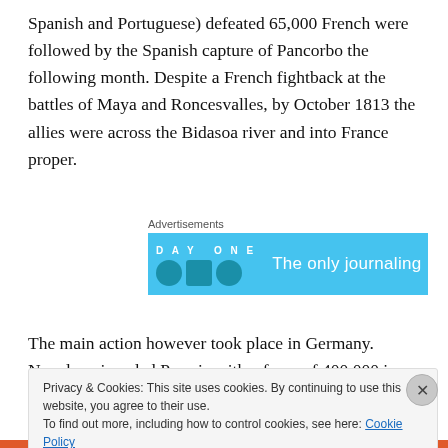Spanish and Portuguese) defeated 65,000 French were followed by the Spanish capture of Pancorbo the following month. Despite a French fightback at the battles of Maya and Roncesvalles, by October 1813 the allies were across the Bidasoa river and into France proper.
[Figure (screenshot): Advertisement banner for DAY ONE journaling app with blue background showing 'The only journaling...' text]
The main action however took place in Germany. Napoleon invaded Prussia with a force of 400,000 in April
Privacy & Cookies: This site uses cookies. By continuing to use this website, you agree to their use.
To find out more, including how to control cookies, see here: Cookie Policy

Close and accept